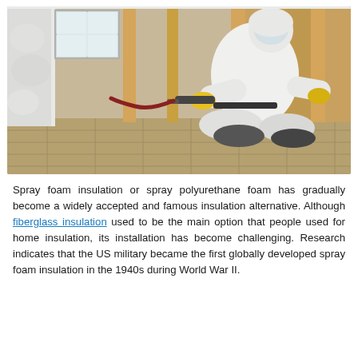[Figure (photo): A person in full white protective suit, face shield, and yellow gloves kneeling on a tiled floor while spraying foam insulation onto a wood-framed wall inside a building under construction.]
Spray foam insulation or spray polyurethane foam has gradually become a widely accepted and famous insulation alternative. Although fiberglass insulation used to be the main option that people used for home insulation, its installation has become challenging. Research indicates that the US military became the first globally developed spray foam insulation in the 1940s during World War II.